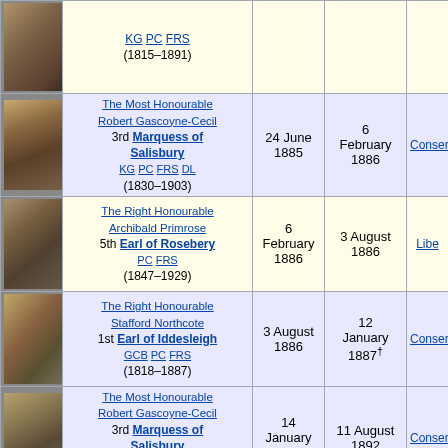| Photo | Name | Took office | Left office | Party |
| --- | --- | --- | --- | --- |
| [photo] | The Most Honourable Robert Gascoyne-Cecil 3rd Marquess of Salisbury KG PC FRS DL (1830–1903) | 24 June 1885 | 6 February 1886 | Conservative |
| [photo] | The Right Honourable Archibald Primrose 5th Earl of Rosebery PC FRS (1847–1929) | 6 February 1886 | 3 August 1886 | Liberal |
| [photo] | The Right Honourable Stafford Northcote 1st Earl of Iddesleigh GCB PC FRS (1818–1887) | 3 August 1886 | 12 January 1887† | Conservative |
| [photo] | The Most Honourable Robert Gascoyne-Cecil 3rd Marquess of Salisbury KG PC FRS DL (1830–1903) | 14 January 1887 | 11 August 1892 | Conservative |